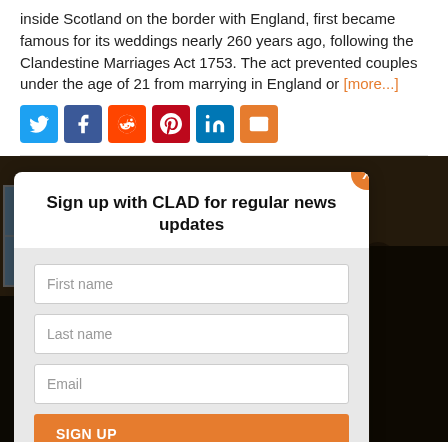inside Scotland on the border with England, first became famous for its weddings nearly 260 years ago, following the Clandestine Marriages Act 1753. The act prevented couples under the age of 21 from marrying in England or [more...]
[Figure (other): Social sharing buttons: Twitter (blue), Facebook (dark blue), Reddit (orange-red), Pinterest (red), LinkedIn (blue), Email (orange)]
[Figure (screenshot): Dark background photograph of a crowd of people in a dimly lit industrial building, with a modal dialog overlay showing a 'Sign up with CLAD for regular news updates' form with First name, Last name, Email fields and a SIGN UP button. A close button (X) in orange appears at the top right of the modal.]